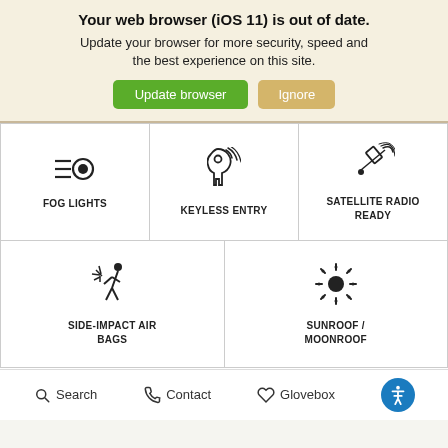Your web browser (iOS 11) is out of date.
Update your browser for more security, speed and the best experience on this site.
[Figure (screenshot): Browser update banner with 'Update browser' (green button) and 'Ignore' (tan button)]
[Figure (infographic): Feature grid: FOG LIGHTS, KEYLESS ENTRY, SATELLITE RADIO READY, SIDE-IMPACT AIR BAGS, SUNROOF / MOONROOF]
Search  Contact  Glovebox  [Accessibility]